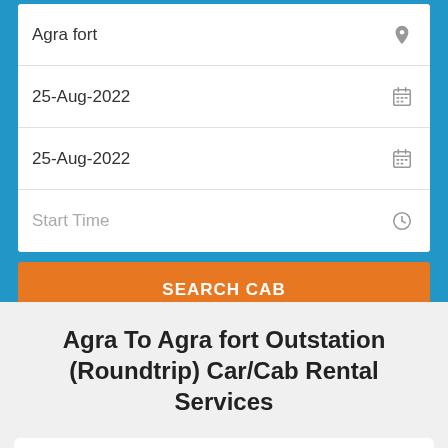Agra fort
25-Aug-2022
25-Aug-2022
Start Time
SEARCH CAB
Agra To Agra fort Outstation (Roundtrip) Car/Cab Rental Services
[Figure (photo): Partial image of a white car at bottom of page]